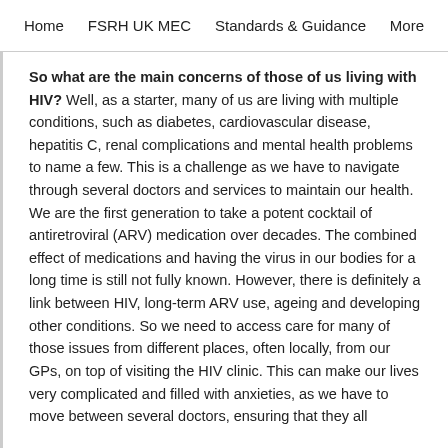Home   FSRH UK MEC   Standards & Guidance   More
So what are the main concerns of those of us living with HIV? Well, as a starter, many of us are living with multiple conditions, such as diabetes, cardiovascular disease, hepatitis C, renal complications and mental health problems to name a few. This is a challenge as we have to navigate through several doctors and services to maintain our health. We are the first generation to take a potent cocktail of antiretroviral (ARV) medication over decades. The combined effect of medications and having the virus in our bodies for a long time is still not fully known. However, there is definitely a link between HIV, long-term ARV use, ageing and developing other conditions. So we need to access care for many of those issues from different places, often locally, from our GPs, on top of visiting the HIV clinic. This can make our lives very complicated and filled with anxieties, as we have to move between several doctors, ensuring that they all